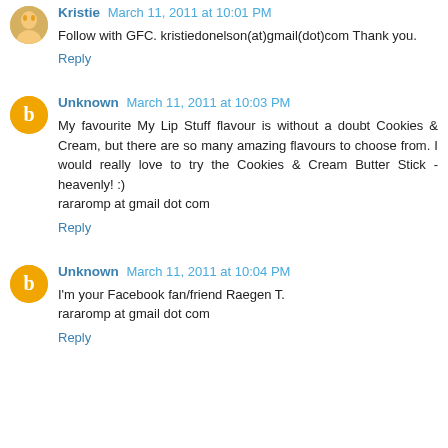Kristie March 11, 2011 at 10:01 PM
Follow with GFC. kristiedonelson(at)gmail(dot)com Thank you.
Reply
Unknown March 11, 2011 at 10:03 PM
My favourite My Lip Stuff flavour is without a doubt Cookies & Cream, but there are so many amazing flavours to choose from. I would really love to try the Cookies & Cream Butter Stick - heavenly! :)
rararomp at gmail dot com
Reply
Unknown March 11, 2011 at 10:04 PM
I'm your Facebook fan/friend Raegen T.
rararomp at gmail dot com
Reply